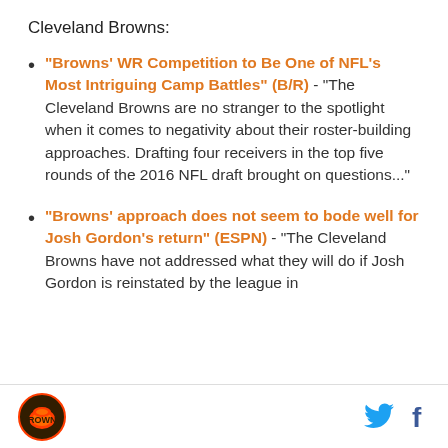Cleveland Browns:
"Browns' WR Competition to Be One of NFL's Most Intriguing Camp Battles" (B/R) - "The Cleveland Browns are no stranger to the spotlight when it comes to negativity about their roster-building approaches. Drafting four receivers in the top five rounds of the 2016 NFL draft brought on questions..."
"Browns' approach does not seem to bode well for Josh Gordon's return" (ESPN) - "The Cleveland Browns have not addressed what they will do if Josh Gordon is reinstated by the league in
Cleveland Browns logo, Twitter icon, Facebook icon